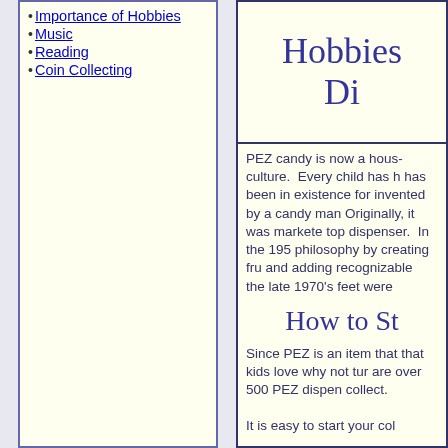Importance of Hobbies
Music
Reading
Coin Collecting
Hobbies Di...
PEZ candy is now a hous... culture. Every child has h... has been in existence for... invented by a candy man... Originally, it was markete... top dispenser. In the 195... philosophy by creating fru... and adding recognizable ... the late 1970's feet were ...
How to St...
Since PEZ is an item that... that kids love why not tur... are over 500 PEZ dispen... collect.
It is easy to start your col...